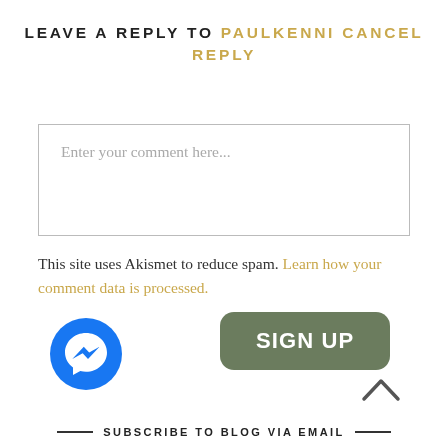LEAVE A REPLY TO PAULKENNI CANCEL REPLY
[Figure (screenshot): Comment text area input box with placeholder text 'Enter your comment here...']
This site uses Akismet to reduce spam. Learn how your comment data is processed.
[Figure (logo): Facebook Messenger blue circle icon]
[Figure (other): Olive green rounded rectangle SIGN UP button]
[Figure (other): Upward chevron/caret arrow icon]
SUBSCRIBE TO BLOG VIA EMAIL